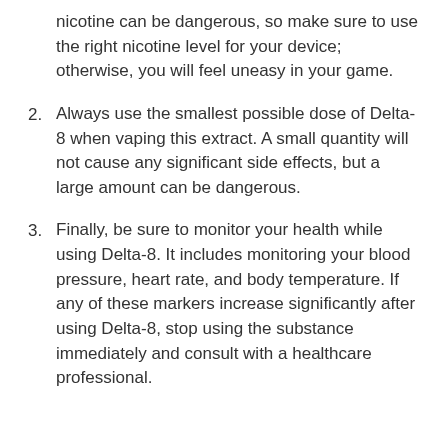nicotine can be dangerous, so make sure to use the right nicotine level for your device; otherwise, you will feel uneasy in your game.
2. Always use the smallest possible dose of Delta-8 when vaping this extract. A small quantity will not cause any significant side effects, but a large amount can be dangerous.
3. Finally, be sure to monitor your health while using Delta-8. It includes monitoring your blood pressure, heart rate, and body temperature. If any of these markers increase significantly after using Delta-8, stop using the substance immediately and consult with a healthcare professional.